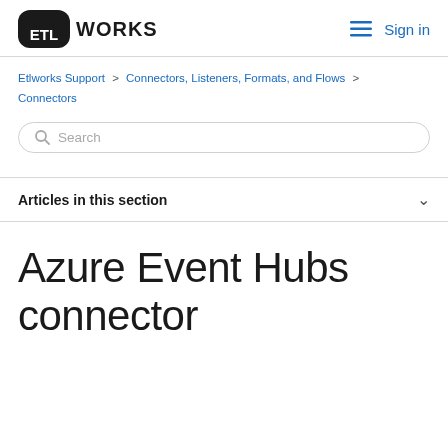ETL WORKS  ≡  Sign in
Etlworks Support > Connectors, Listeners, Formats, and Flows > Connectors
Search
Articles in this section
Azure Event Hubs connector